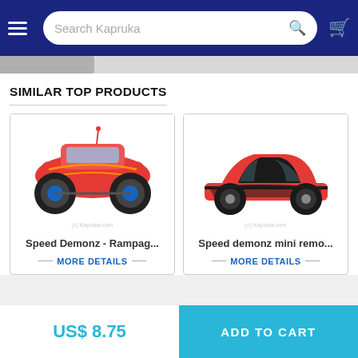[Figure (screenshot): Kapruka e-commerce website header with hamburger menu, search bar reading 'Search Kapruka', search icon, and cart icon on dark blue background]
SIMILAR TOP PRODUCTS
[Figure (photo): RC monster truck toy - Speed Demonz Rampag... red and blue off-road vehicle with large wheels]
Speed Demonz - Rampag...
MORE DETAILS
[Figure (photo): RC sports car toy - Speed demonz mini remo... red and black sleek sports car]
Speed demonz mini remo...
MORE DETAILS
US$ 8.75
ADD TO CART